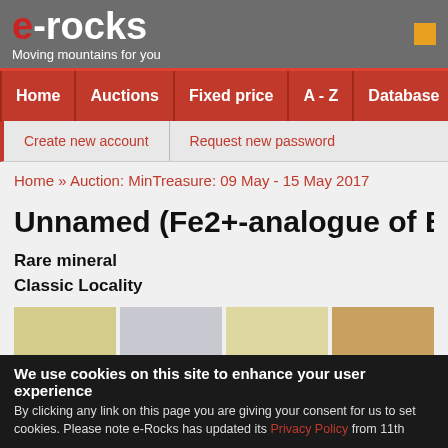e-rocks Moving mountains for you
Home | Auctions | Fixed price | A - Z | Database | About
Create new account | Request new password
Home » Auction: MinTreasure: 09 May - 15 May 2017
Unnamed (Fe2+-analogue of Brandti…
Rare mineral
Classic Locality
[Figure (photo): Four photos of mineral specimens showing pale yellow crystalline formations and brown mineral clusters]
We use cookies on this site to enhance your user experience
By clicking any link on this page you are giving your consent for us to set cookies. Please note e-Rocks has updated its Privacy Policy from 11th